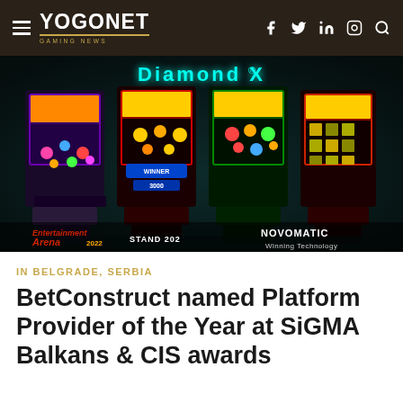YOGONET GAMING NEWS
[Figure (photo): Four Diamond X slot machine cabinets by Novomatic displayed at Entertainment Arena 2022, Stand 202. Machines have colorful LED displays showing various casino games. The Diamond X logo appears at the top in cyan. Entertainment Arena 2022 and Novomatic Winning Technology logos appear at the bottom.]
IN BELGRADE, SERBIA
BetConstruct named Platform Provider of the Year at SiGMA Balkans & CIS awards